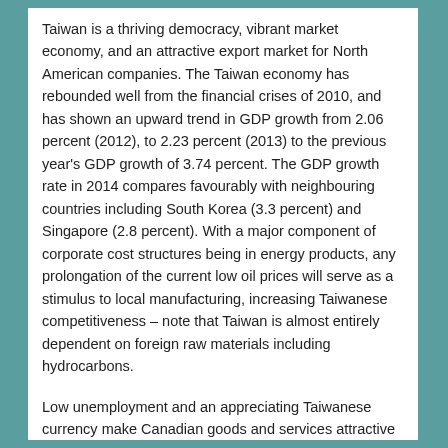Taiwan is a thriving democracy, vibrant market economy, and an attractive export market for North American companies. The Taiwan economy has rebounded well from the financial crises of 2010, and has shown an upward trend in GDP growth from 2.06 percent (2012), to 2.23 percent (2013) to the previous year's GDP growth of 3.74 percent. The GDP growth rate in 2014 compares favourably with neighbouring countries including South Korea (3.3 percent) and Singapore (2.8 percent). With a major component of corporate cost structures being in energy products, any prolongation of the current low oil prices will serve as a stimulus to local manufacturing, increasing Taiwanese competitiveness – note that Taiwan is almost entirely dependent on foreign raw materials including hydrocarbons.
Low unemployment and an appreciating Taiwanese currency make Canadian goods and services attractive to Taiwan buyers.
Taiwan is a member of the Asian Development Bank, the WTO, and the Asian-Pacific Economic Cooperation Forum, which reflects Taiwan's economic importance, and desire to